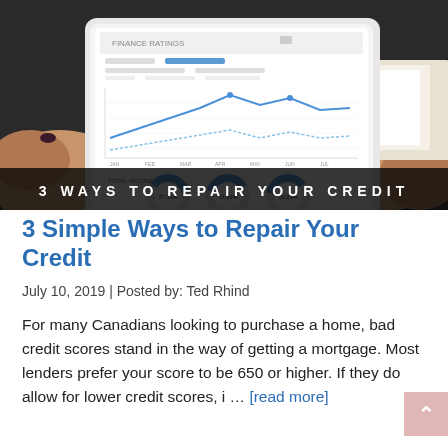[Figure (photo): A person holding a tablet displaying financial charts including line graphs and donut/gauge charts showing percentages 37.31%, 31.80%, 30.23%, with text overlay '3 WAYS TO REPAIR YOUR CREDIT' on a dark banner at the bottom of the image.]
3 Simple Ways to Repair Your Credit
July 10, 2019 | Posted by: Ted Rhind
For many Canadians looking to purchase a home, bad credit scores stand in the way of getting a mortgage. Most lenders prefer your score to be 650 or higher. If they do allow for lower credit scores, i … [read more]